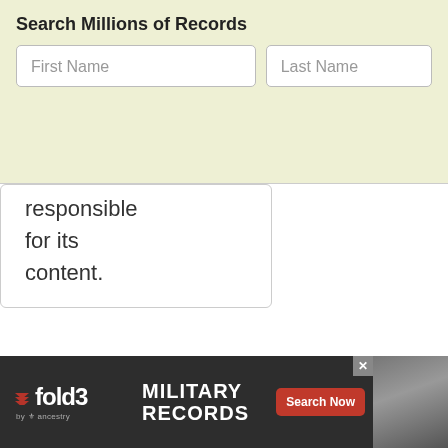Search Millions of Records
[Figure (screenshot): Search form with First Name and Last Name input fields on a light yellow-green background]
responsible for its content.
[Figure (screenshot): Large empty white content box with rounded corners]
[Figure (infographic): Fold3 by Ancestry advertisement banner for Military Records with Search Now button and soldier photo]